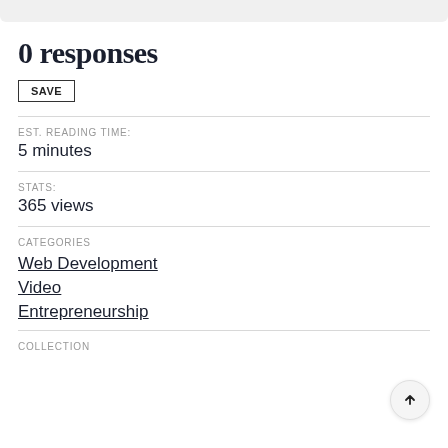0 responses
SAVE
EST. READING TIME:
5 minutes
STATS:
365 views
CATEGORIES
Web Development
Video
Entrepreneurship
COLLECTION